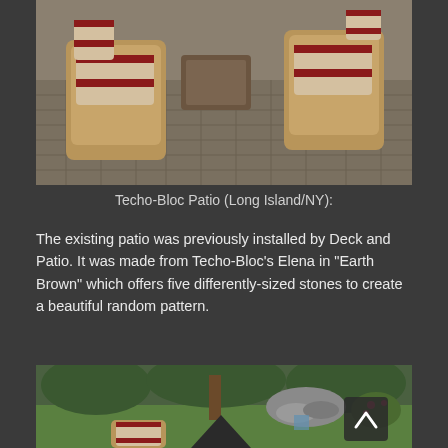[Figure (photo): Outdoor patio with wicker chairs with red-and-white striped cushions arranged around a table on a Techo-Bloc paver stone patio]
Techo-Bloc Patio (Long Island/NY):
The existing patio was previously installed by Deck and Patio. It was made from Techo-Bloc’s Elena in “Earth Brown” which offers five differently-sized stones to create a beautiful random pattern.
[Figure (photo): Outdoor garden landscape with lush green lawn, rock waterfall feature, trees, and wicker chairs with striped cushions in the foreground]